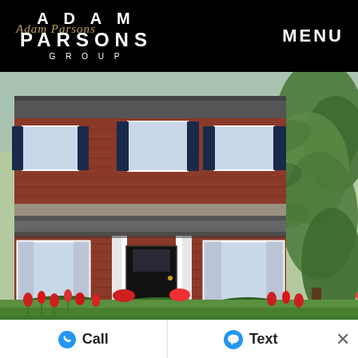ADAM PARSONS GROUP — MENU
[Figure (photo): Exterior photo of a two-story brick colonial house with dark shutters, a front porch, white trim, steps leading to a black front door, red tulips and flowering plants in the foreground, and a large evergreen tree on the right side.]
Call
Text